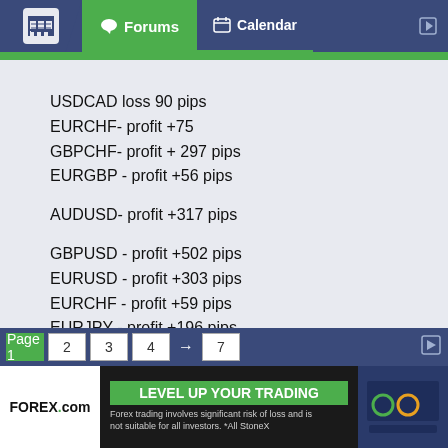Forums  Calendar
USDCAD loss 90 pips
EURCHF- profit +75
GBPCHF- profit + 297 pips
EURGBP - profit +56 pips
AUDUSD- profit +317 pips
GBPUSD - profit +502 pips
EURUSD - profit +303 pips
EURCHF - profit +59 pips
EURJPY - profit +196 pips
Page 1  2  3  4  →  7
[Figure (screenshot): FOREX.com advertisement banner: 'LEVEL UP YOUR TRADING'. Forex trading involves significant risk of loss and is not suitable for all investors. *All StoneX]